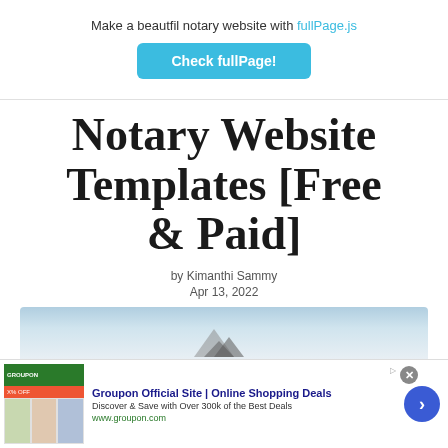Make a beautfil notary website with fullPage.js
[Figure (other): Check fullPage! button — a teal/blue rounded rectangle button with white bold text]
Notary Website Templates [Free & Paid]
by Kimanthi Sammy
Apr 13, 2022
[Figure (photo): Hero image showing a sky/cloud background with mountain-like logo shapes at the bottom center]
[Figure (other): Advertisement banner: Groupon Official Site | Online Shopping Deals — Discover & Save with Over 300k of the Best Deals — www.groupon.com]